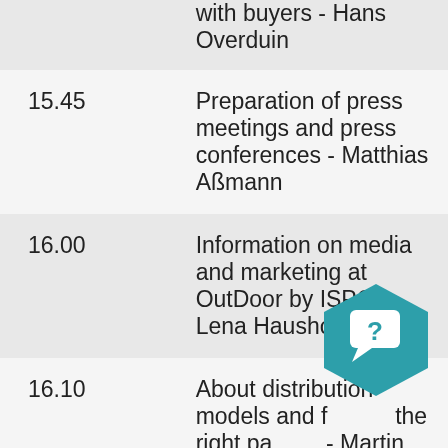| Time | Description |
| --- | --- |
|  | with buyers - Hans Overduin |
| 15.45 | Preparation of press meetings and press conferences - Matthias Aßmann |
| 16.00 | Information on media and marketing at OutDoor by ISPO - Lena Haushofer |
| 16.10 | About distribution models and finding the right partner - Martin Kössler |
| 16.30 | Advice from experienced exhibitors |